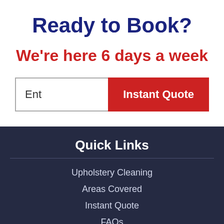Ready to Book?
We're here 6 days a week
[Figure (other): Form input field with placeholder text 'Ent' and a red 'Instant Quote' button]
Quick Links
Upholstery Cleaning
Areas Covered
Instant Quote
FAQs (partially visible)